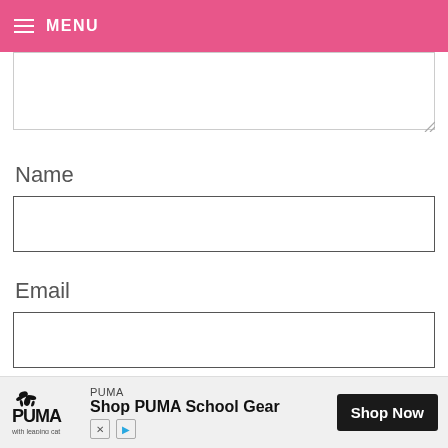MENU
[Figure (screenshot): Empty textarea input box with resize handle at bottom right]
Name
[Figure (screenshot): Empty text input box for Name field]
Email
[Figure (screenshot): Empty text input box for Email field]
Website
[Figure (screenshot): Empty text input box for Website field with X close button]
[Figure (screenshot): PUMA advertisement banner: Shop PUMA School Gear - Shop Now button]